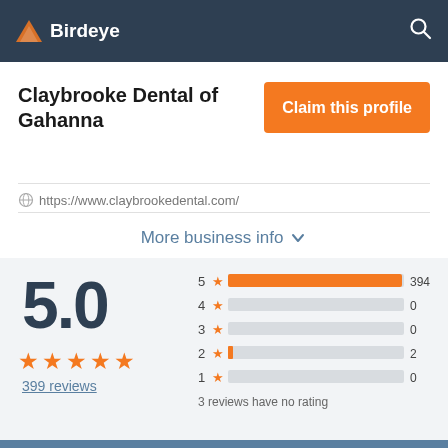Birdeye
Claybrooke Dental of Gahanna
Claim this profile
https://www.claybrookedental.com/
More business info
[Figure (bar-chart): Rating distribution]
5.0
★ ★ ★ ★ ★
399 reviews
3 reviews have no rating